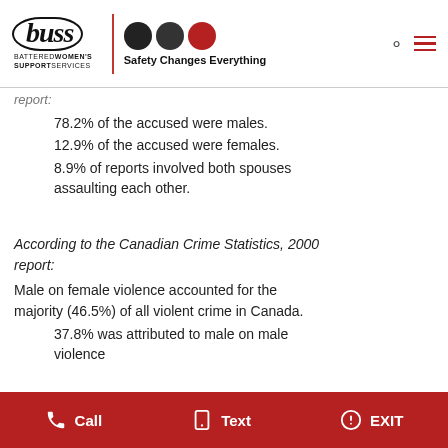buss — BATTERED WOMEN'S SUPPORT SERVICES | Safety Changes Everything
report:
78.2% of the accused were males.
12.9% of the accused were females.
8.9% of reports involved both spouses assaulting each other.
According to the Canadian Crime Statistics, 2000 report:
Male on female violence accounted for the majority (46.5%) of all violent crime in Canada.
37.8% was attributed to male on male violence
Call   Text   EXIT